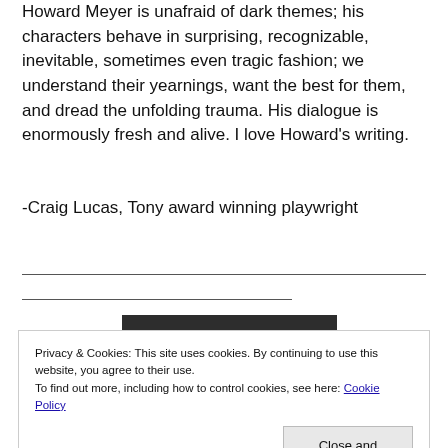Howard Meyer is unafraid of dark themes; his characters behave in surprising, recognizable, inevitable, sometimes even tragic fashion; we understand their yearnings, want the best for them, and dread the unfolding trauma. His dialogue is enormously fresh and alive. I love Howard's writing.
-Craig Lucas, Tony award winning playwright
Privacy & Cookies: This site uses cookies. By continuing to use this website, you agree to their use.
To find out more, including how to control cookies, see here: Cookie Policy